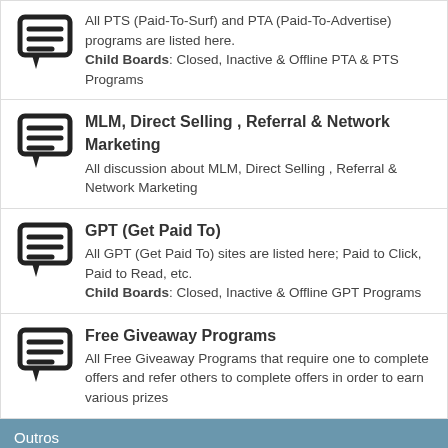All PTS (Paid-To-Surf) and PTA (Paid-To-Advertise) programs are listed here. Child Boards: Closed, Inactive & Offline PTA & PTS Programs
MLM, Direct Selling , Referral & Network Marketing — All discussion about MLM, Direct Selling , Referral & Network Marketing
GPT (Get Paid To) — All GPT (Get Paid To) sites are listed here; Paid to Click, Paid to Read, etc. Child Boards: Closed, Inactive & Offline GPT Programs
Free Giveaway Programs — All Free Giveaway Programs that require one to complete offers and refer others to complete offers in order to earn various prizes
Outros